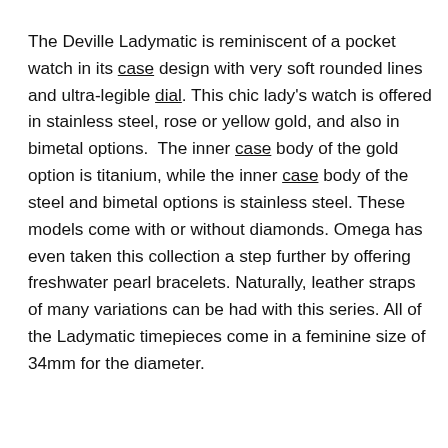The Deville Ladymatic is reminiscent of a pocket watch in its case design with very soft rounded lines and ultra-legible dial. This chic lady's watch is offered in stainless steel, rose or yellow gold, and also in bimetal options.  The inner case body of the gold option is titanium, while the inner case body of the steel and bimetal options is stainless steel. These models come with or without diamonds. Omega has even taken this collection a step further by offering freshwater pearl bracelets. Naturally, leather straps of many variations can be had with this series. All of the Ladymatic timepieces come in a feminine size of 34mm for the diameter.
We use cookies on our website to give you the most relevant experience by remembering your preferences and repeat visits. By clicking “Accept”, you consent to the use of ALL the cookies.
Cookie settings
ACCEPT